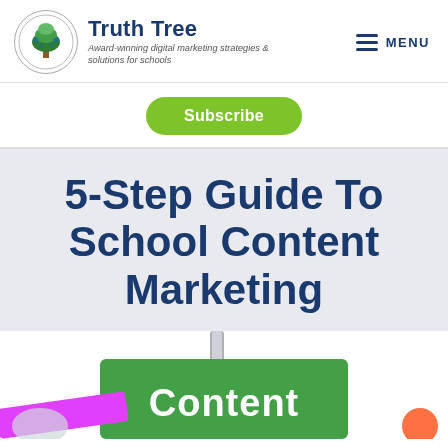Truth Tree — Award-winning digital marketing strategies & solutions for schools | MENU
[Figure (logo): Truth Tree logo: circular emblem with illustrated tree, beside bold brand name 'Truth Tree' and italic tagline 'Award-winning digital marketing strategies & solutions for schools']
Subscribe
5-Step Guide To School Content Marketing
[Figure (photo): Partial view of green signpost with white text 'Content' and colorful signs at bottom of page]